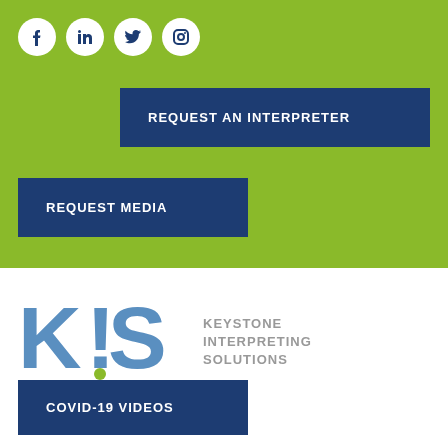[Figure (infographic): Green header section with social media icons (Facebook, LinkedIn, Twitter, Instagram) as white circles, a navy blue 'REQUEST AN INTERPRETER' button, and a navy blue 'REQUEST MEDIA' button]
[Figure (logo): Keystone Interpreting Solutions (KIS) logo with large blue K, exclamation mark, S letters and green dot, alongside gray text reading KEYSTONE INTERPRETING SOLUTIONS]
[Figure (infographic): Hamburger menu icon (three horizontal lines)]
COVID-19 VIDEOS